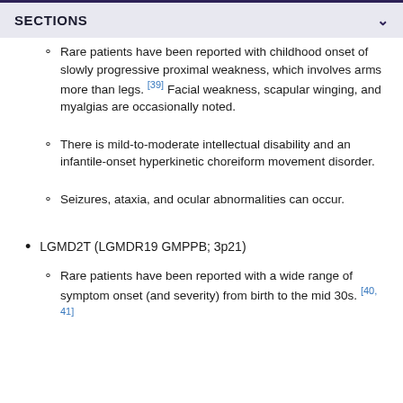SECTIONS
Rare patients have been reported with childhood onset of slowly progressive proximal weakness, which involves arms more than legs. [39] Facial weakness, scapular winging, and myalgias are occasionally noted.
There is mild-to-moderate intellectual disability and an infantile-onset hyperkinetic choreiform movement disorder.
Seizures, ataxia, and ocular abnormalities can occur.
LGMD2T (LGMDR19 GMPPB; 3p21)
Rare patients have been reported with a wide range of symptom onset (and severity) from birth to the mid 30s. [40, 41]